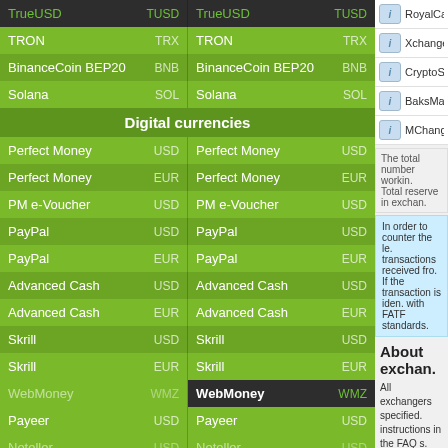| Currency | Code | Currency | Code |
| --- | --- | --- | --- |
| TrueUSD | TUSD | TrueUSD | TUSD |
| TRON | TRX | TRON | TRX |
| BinanceCoin BEP20 | BNB | BinanceCoin BEP20 | BNB |
| Solana | SOL | Solana | SOL |
| Digital currencies |  |  |  |
| Perfect Money | USD | Perfect Money | USD |
| Perfect Money | EUR | Perfect Money | EUR |
| PM e-Voucher | USD | PM e-Voucher | USD |
| PayPal | USD | PayPal | USD |
| PayPal | EUR | PayPal | EUR |
| Advanced Cash | USD | Advanced Cash | USD |
| Advanced Cash | EUR | Advanced Cash | EUR |
| Skrill | USD | Skrill | USD |
| Skrill | EUR | Skrill | EUR |
| WebMoney | WMZ | WebMoney | WMZ |
| Payeer | USD | Payeer | USD |
| Neteller | USD | Neteller | USD |
| Neteller | EUR | Neteller | EUR |
| Epay | USD | Epay | USD |
RoyalCash
Xchange
CryptoStrike
BaksMan
MChange
The total number workin. Total reserve in exchan.
In order to counter the le. transactions received fro. If the transaction is iden. with FATF standards.
About exchan.
All exchangers specified. instructions in the FAQ s. difficulties with the excha.
Keep in mind that chang. monitor than when you v.
If you cannot find how to. quite possible that no au. manually.